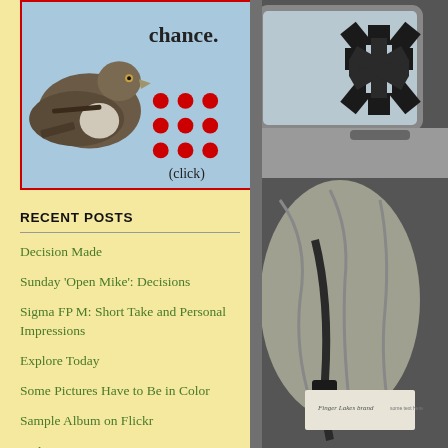[Figure (photo): Bird (hawk/mockingbird) perched against blue sky background with text 'chance.' and red dots grid and '(click)' label - appears to be a clickable widget or ad]
RECENT POSTS
Decision Made
Sunday 'Open Mike': Decisions
Sigma FP M: Short Take and Personal Impressions
Explore Today
Some Pictures Have to Be in Color
Sample Album on Flickr
Parking Lot Picture
[Figure (photo): Interior of an ambulance cab viewed from the back, showing the driver's seat covered with a gray cloth, seatbelt, window with a black star-of-life medical symbol decal, and a paper/placard on the dashboard]